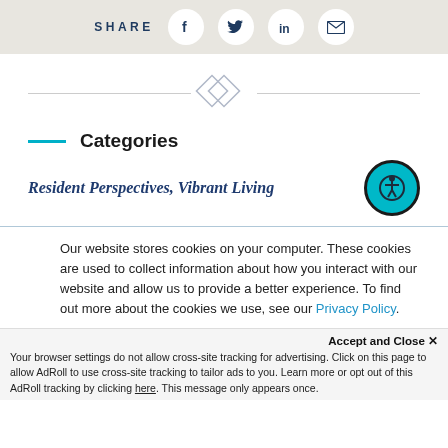SHARE
[Figure (infographic): Decorative diamond divider with horizontal lines on each side]
Categories
Resident Perspectives, Vibrant Living
Our website stores cookies on your computer. These cookies are used to collect information about how you interact with our website and allow us to provide a better experience. To find out more about the cookies we use, see our Privacy Policy.
Accept and Close ×
Your browser settings do not allow cross-site tracking for advertising. Click on this page to allow AdRoll to use cross-site tracking to tailor ads to you. Learn more or opt out of this AdRoll tracking by clicking here. This message only appears once.